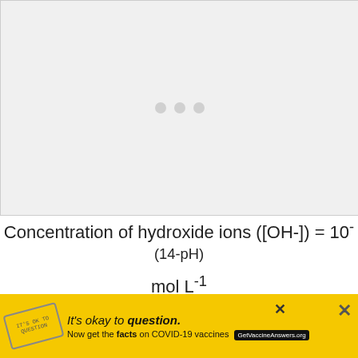[Figure (other): Gray placeholder image region with three light gray dots in the center, representing a loading or missing media element]
Basically it's just the opposite of pH. pH 14 has the
[Figure (other): Yellow advertisement banner for COVID-19 vaccine information with stamp graphic, text 'It's okay to question. Now get the facts on COVID-19 vaccines GetVaccineAnswers.org', close button, and X icon]